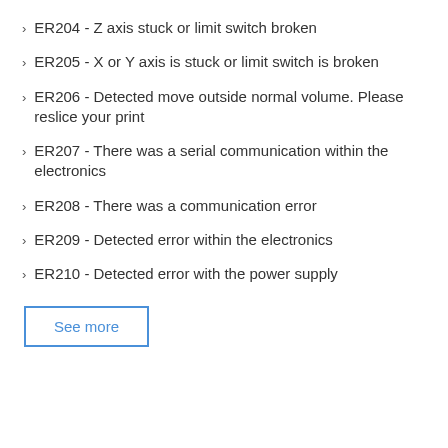ER204 - Z axis stuck or limit switch broken
ER205 - X or Y axis is stuck or limit switch is broken
ER206 - Detected move outside normal volume. Please reslice your print
ER207 - There was a serial communication within the electronics
ER208 - There was a communication error
ER209 - Detected error within the electronics
ER210 - Detected error with the power supply
See more